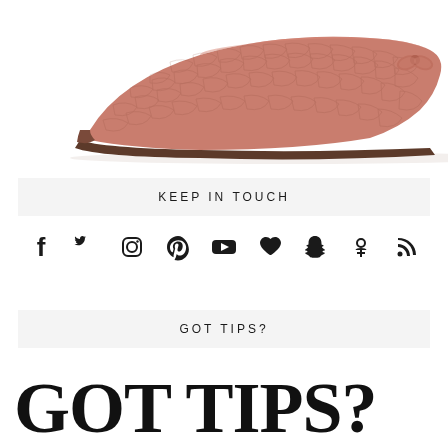[Figure (photo): Side profile of a pink/dusty rose croco-embossed leather ballet flat shoe with a small bow at the toe and dark brown thin sole, on a white background.]
KEEP IN TOUCH
[Figure (infographic): Row of social media icons: Facebook, Twitter, Instagram, Pinterest, YouTube, heart/Bloglovin, Snapchat, Odnoklassniki, RSS feed]
GOT TIPS?
GOT TIPS?